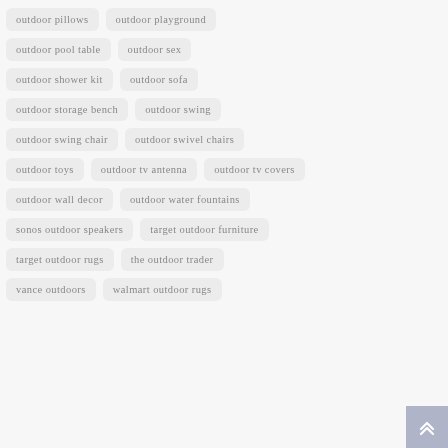outdoor pillows
outdoor playground
outdoor pool table
outdoor sex
outdoor shower kit
outdoor sofa
outdoor storage bench
outdoor swing
outdoor swing chair
outdoor swivel chairs
outdoor toys
outdoor tv antenna
outdoor tv covers
outdoor wall decor
outdoor water fountains
sonos outdoor speakers
target outdoor furniture
target outdoor rugs
the outdoor trader
vance outdoors
walmart outdoor rugs